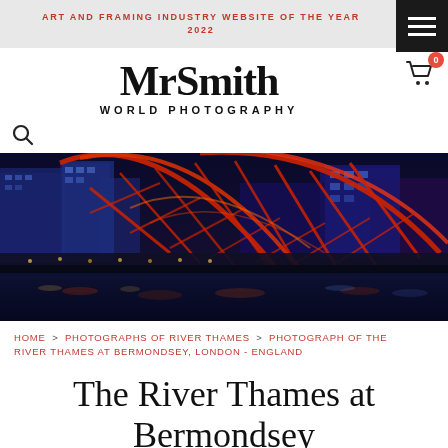ART AND FRAMING INDUSTRY WEBSITE OF THE YEAR 2022
MrSmith WORLD PHOTOGRAPHY
[Figure (photo): Night photograph of the River Thames at Bermondsey, London, showing the illuminated London Eye in red and blue lights, with buildings and water reflections]
HOME > PHOTOGRAPHS OF RIVER THAMES > PHOTOGRAPH OF THE RIVER THAMES AT BERMONDSEY, LONDON - ENGLAND
The River Thames at Bermondsey